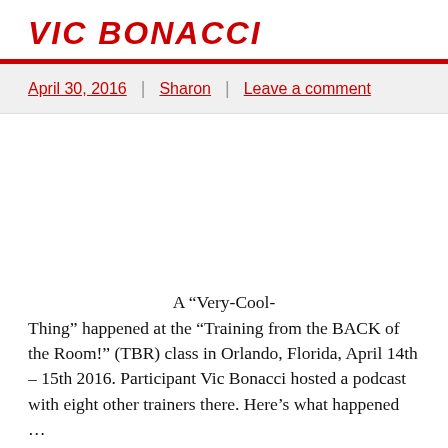VIC BONACCI
April 30, 2016 | Sharon | Leave a comment
A “Very-Cool-Thing” happened at the “Training from the BACK of the Room!” (TBR) class in Orlando, Florida, April 14th – 15th 2016. Participant Vic Bonacci hosted a podcast with eight other trainers there. Here’s what happened …